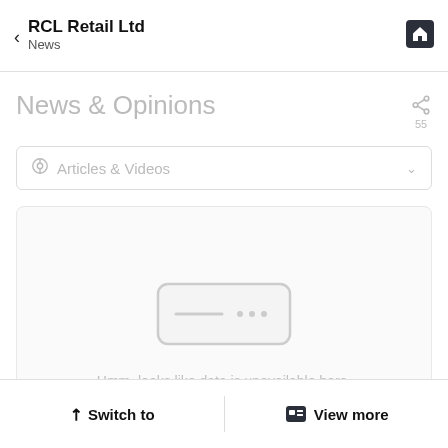RCL Retail Ltd
News
News & Opinions
55
Articles & Videos
[Figure (screenshot): Empty state placeholder icon: a rounded rectangle outline with a dashed line and dots inside, indicating no data available]
Hmm, looks like data is unavailable here. Please come back after some time.
Switch to | View more